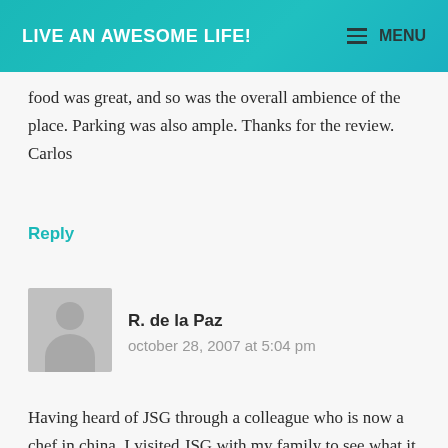LIVE AN AWESOME LIFE! | MENU
food was great, and so was the overall ambience of the place. Parking was also ample. Thanks for the review.
Carlos
Reply
R. de la Paz
october 28, 2007 at 5:04 pm
Having heard of JSG through a colleague who is now a chef in china, I visited JSG with my family to see what it was all about. After all my friend